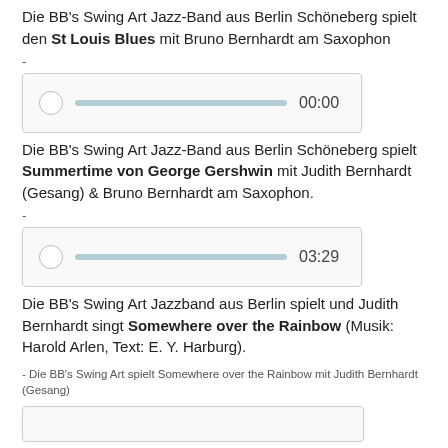Die BB's Swing Art Jazz-Band aus Berlin Schöneberg spielt den St Louis Blues mit Bruno Bernhardt am Saxophon
-
[Figure (other): Audio player widget showing time 00:00]
Die BB's Swing Art Jazz-Band aus Berlin Schöneberg spielt Summertime von George Gershwin mit Judith Bernhardt (Gesang) & Bruno Bernhardt am Saxophon.
-
[Figure (other): Audio player widget showing time 03:29]
Die BB's Swing Art Jazzband aus Berlin spielt und Judith Bernhardt singt Somewhere over the Rainbow (Musik: Harold Arlen, Text: E. Y. Harburg).
- Die BB's Swing Art spielt Somewhere over the Rainbow mit Judith Bernhardt (Gesang)
[Figure (other): Audio player widget (partially visible at bottom)]